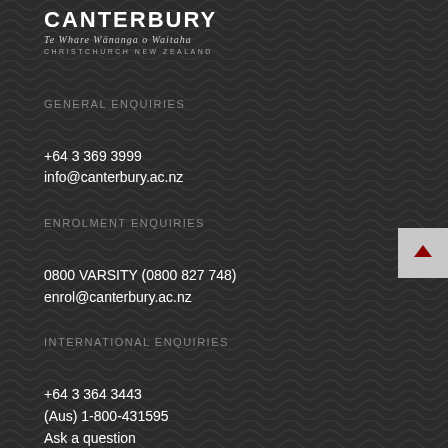[Figure (logo): University of Canterbury logo with text: CANTERBURY, Te Whare Wānanga o Waitaha, CHRISTCHURCH NEW ZEALAND]
GENERAL ENQUIRIES
+64 3 369 3999
info@canterbury.ac.nz
ENROLMENT ENQUIRIES
0800 VARSITY (0800 827 748)
enrol@canterbury.ac.nz
INTERNATIONAL ENQUIRIES
+64 3 364 3443
(Aus) 1-800-431595
Ask a question